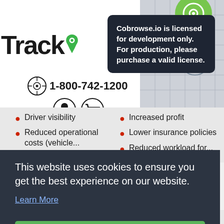[Figure (logo): Tracki logo with map pin icon in green]
1-800-742-1200
Cobrowse.io is licensed for development only. For production, please purchase a valid license.
Driver visibility
Reduced operational costs (vehicle...
Increased profit
Lower insurance policies
Reduced workload for...
This website uses cookies to ensure you get the best experience on our website.
Learn More
Got it!